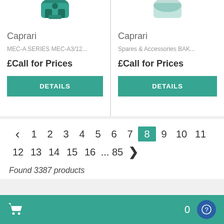[Figure (photo): Caprari pump product image, green/teal colored pump, partially cropped at top]
Caprari
MEC-A SERIES MEC-A3/12...
£Call for Prices
DETAILS
Caprari
Spares & Accessories BAK...
£Call for Prices
DETAILS
< 1 2 3 4 5 6 7 8 9 10 11 12 13 14 15 16 ... 85 >
Found 3387 products